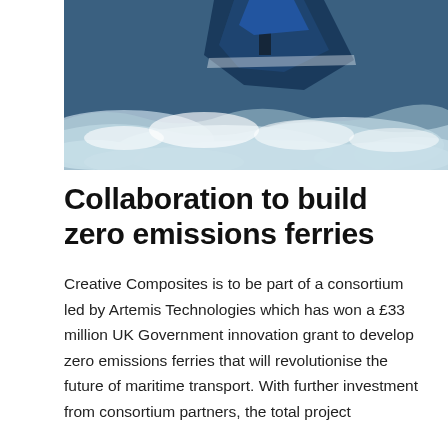[Figure (photo): Aerial or close-up photo of a high-speed vessel (blue hull) cutting through rough, white-foamed ocean waves]
Collaboration to build zero emissions ferries
Creative Composites is to be part of a consortium led by Artemis Technologies which has won a £33 million UK Government innovation grant to develop zero emissions ferries that will revolutionise the future of maritime transport. With further investment from consortium partners, the total project